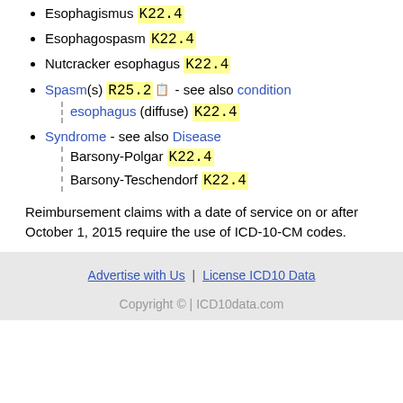Esophagismus K22.4
Esophagospasm K22.4
Nutcracker esophagus K22.4
Spasm(s) R25.2 - see also condition esophagus (diffuse) K22.4
Syndrome - see also Disease Barsony-Polgar K22.4 Barsony-Teschendorf K22.4
Reimbursement claims with a date of service on or after October 1, 2015 require the use of ICD-10-CM codes.
Advertise with Us | License ICD10 Data
Copyright © | ICD10data.com